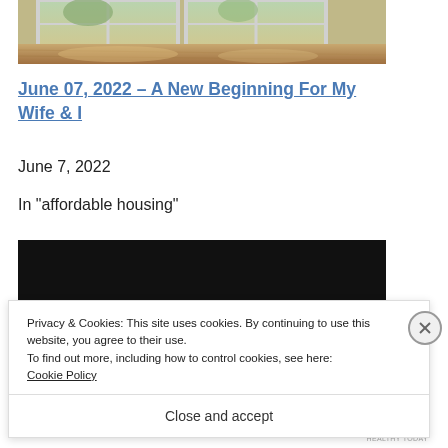[Figure (photo): Interior room photo showing large windows with natural light, hardwood floors, and views of trees/flowers outside.]
June 07, 2022 – A New Beginning For My Wife & I
June 7, 2022
In "affordable housing"
[Figure (photo): Dark/black image, partially obscured by cookie consent banner.]
Privacy & Cookies: This site uses cookies. By continuing to use this website, you agree to their use.
To find out more, including how to control cookies, see here: Cookie Policy
Close and accept